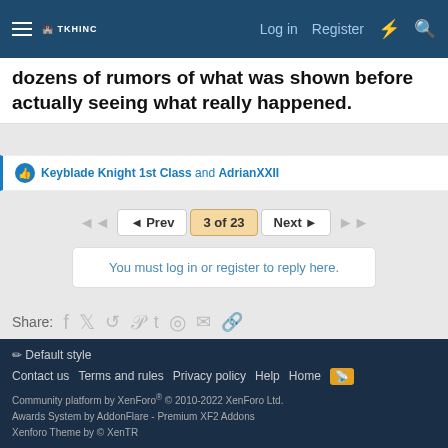Log in  Register
dozens of rumors of what was shown before actually seeing what really happened.
👍 Keyblade Knight 1st Class and AdrianXXII
◄◄  ◄ Prev  3 of 23  Next ►  ►►
You must log in or register to reply here.
Share: f  🐦  reddit  P  t  whatsapp  ✉  🔗
< General + Future
✏ Default style
Contact us  Terms and rules  Privacy policy  Help  Home 🔶
Community platform by XenForo® © 2010-2022 XenForo Ltd.
Awards System by AddonFlare - Premium XF2 Addons
Xenforo Theme by © XenTR